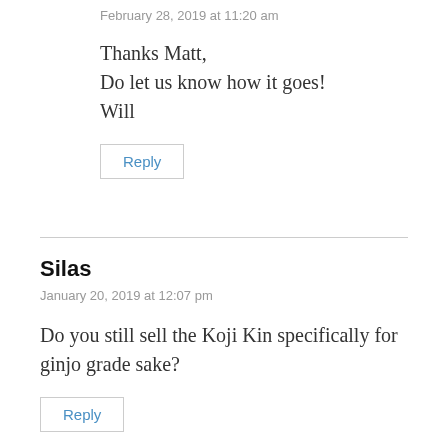February 28, 2019 at 11:20 am
Thanks Matt,
Do let us know how it goes!
Will
Reply
Silas
January 20, 2019 at 12:07 pm
Do you still sell the Koji Kin specifically for ginjo grade sake?
Reply